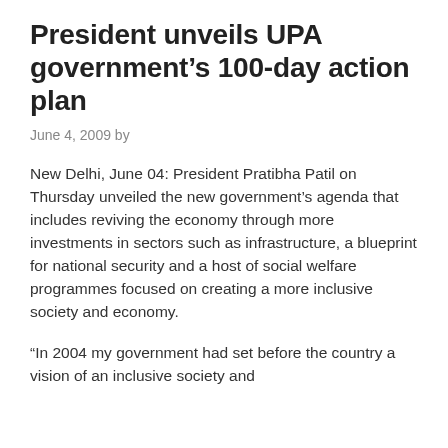President unveils UPA government’s 100-day action plan
June 4, 2009 by
New Delhi, June 04: President Pratibha Patil on Thursday unveiled the new government’s agenda that includes reviving the economy through more investments in sectors such as infrastructure, a blueprint for national security and a host of social welfare programmes focused on creating a more inclusive society and economy.
“In 2004 my government had set before the country a vision of an inclusive society and economy…